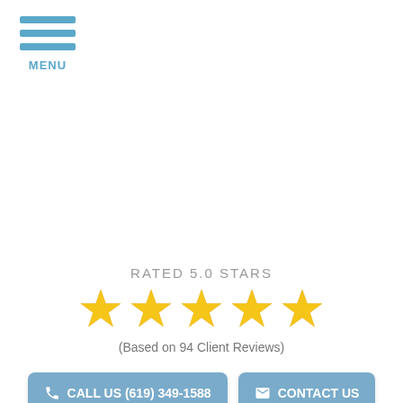MENU
RATED 5.0 STARS
[Figure (other): Five gold stars rating display]
(Based on 94 Client Reviews)
CALL US (619) 349-1588
CONTACT US